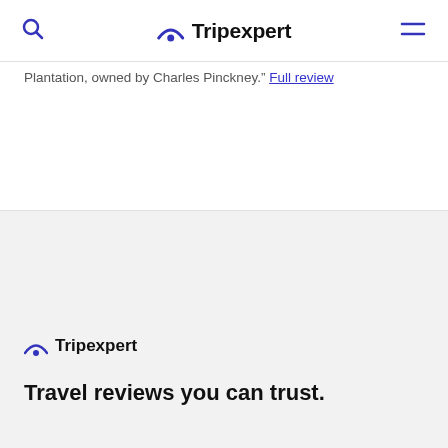Tripexpert
Plantation, owned by Charles Pinckney." Full review
[Figure (logo): Tripexpert logo in footer with arc icon]
Travel reviews you can trust.